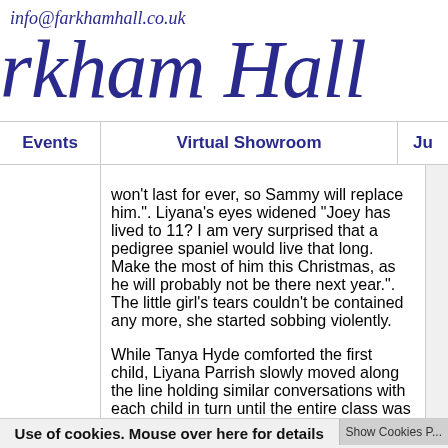info@farkhamhall.co.uk
rkham Hall
Events | Virtual Showroom | Ju
won't last for ever, so Sammy will replace him.". Liyana's eyes widened "Joey has lived to 11? I am very surprised that a pedigree spaniel would live that long. Make the most of him this Christmas, as he will probably not be there next year.". The little girl's tears couldn't be contained any more, she started sobbing violently.
While Tanya Hyde comforted the first child, Liyana Parrish slowly moved along the line holding similar conversations with each child in turn until the entire class was in tears and poor Ms Hyde was rushing around trying to comfort them in turn.
Use of cookies. Mouse over here for details | Show Cookies P...